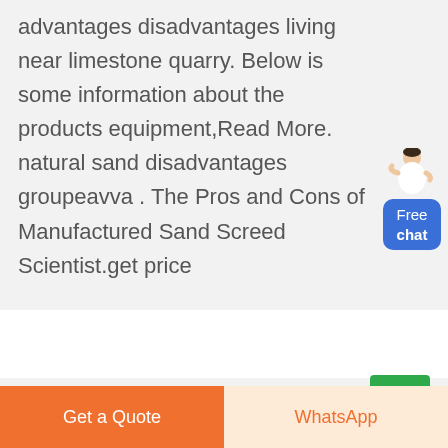advantages disadvantages living near limestone quarry. Below is some information about the products equipment,Read More. natural sand disadvantages groupeavva . The Pros and Cons of Manufactured Sand Screed Scientist.get price
[Figure (illustration): Customer service representative figure with blue Free chat button widget on the right side]
[Figure (illustration): Green scroll-to-top button with upward arrow]
Get a Quote
WhatsApp